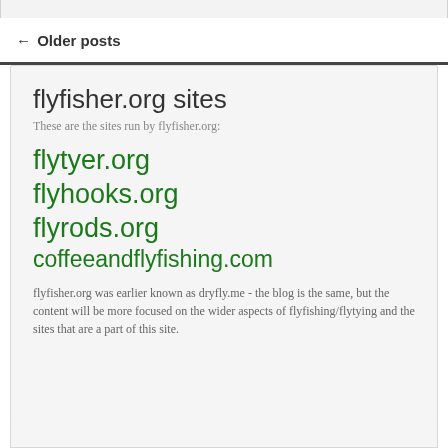← Older posts
flyfisher.org sites
These are the sites run by flyfisher.org:
flytyer.org
flyhooks.org
flyrods.org
coffeeandflyfishing.com
flyfisher.org was earlier known as dryfly.me - the blog is the same, but the content will be more focused on the wider aspects of flyfishing/flytying and the sites that are a part of this site.